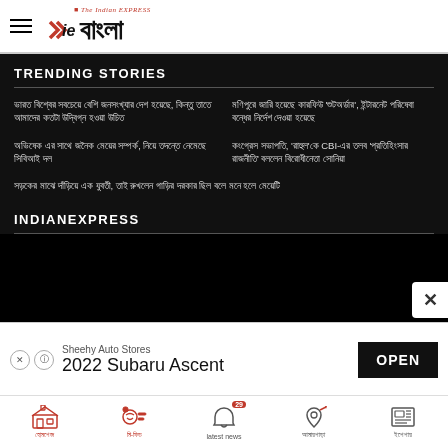IE Bangla - The Indian Express
TRENDING STORIES
Bengali text story 1 left column
Bengali text story 1 right column
Bengali text story 2 left column
Bengali text story 2 right column with CBI
Bengali text story 3 full width
INDIANEXPRESS
Sheehy Auto Stores 2022 Subaru Ascent OPEN
Bottom navigation: Home, My Feed, Latest News (29), Local, Newspaper